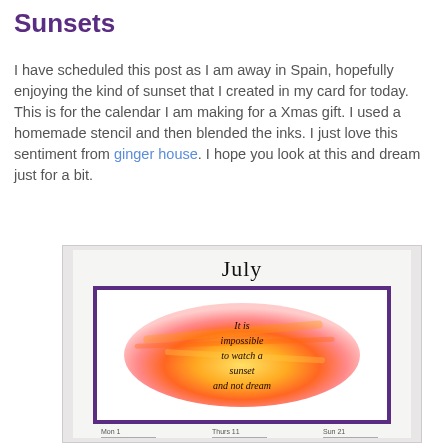Sunsets
I have scheduled this post as I am away in Spain, hopefully enjoying the kind of sunset that I created in my card for today.
This is for the calendar I am making for a Xmas gift. I used a homemade stencil and then blended the inks. I just love this sentiment from ginger house. I hope you look at this and dream just for a bit.
[Figure (photo): A handmade calendar card for July showing a watercolor oval sunset design in orange, pink and yellow colors with the handwritten text 'It is impossible to watch a sunset and not dream'. The card has a purple border and shows the beginning of a calendar grid at the bottom with Mon 1, Thurs 11, Sun 21 visible.]